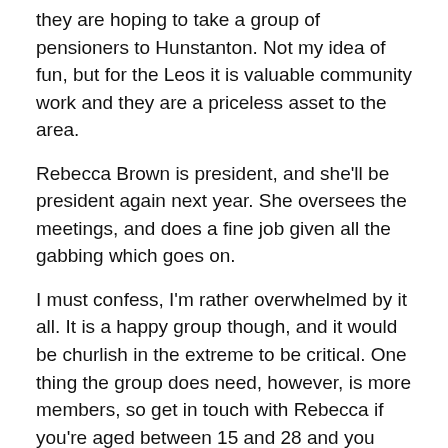they are hoping to take a group of pensioners to Hunstanton. Not my idea of fun, but for the Leos it is valuable community work and they are a priceless asset to the area.
Rebecca Brown is president, and she'll be president again next year. She oversees the meetings, and does a fine job given all the gabbing which goes on.
I must confess, I'm rather overwhelmed by it all. It is a happy group though, and it would be churlish in the extreme to be critical. One thing the group does need, however, is more members, so get in touch with Rebecca if you're aged between 15 and 28 and you want to join a fun, proactive organisation.
Leos clubs are truly world-wide, which is something that could not possibly have imagined when the first group was set up at Abingdon High School, Pennsylvania in 1957.